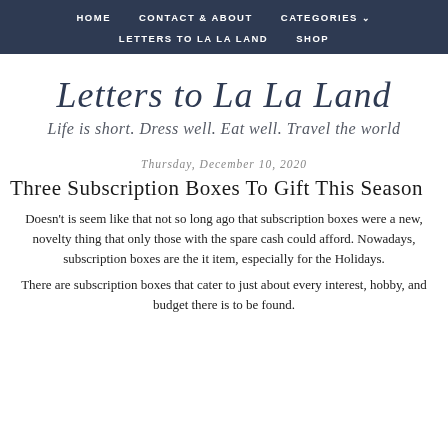HOME   CONTACT & ABOUT   CATEGORIES   LETTERS TO LA LA LAND   SHOP
Letters to La La Land
Life is short. Dress well. Eat well. Travel the world
Thursday, December 10, 2020
Three Subscription Boxes To Gift This Season
Doesn't is seem like that not so long ago that subscription boxes were a new, novelty thing that only those with the spare cash could afford. Nowadays, subscription boxes are the it item, especially for the Holidays.
There are subscription boxes...